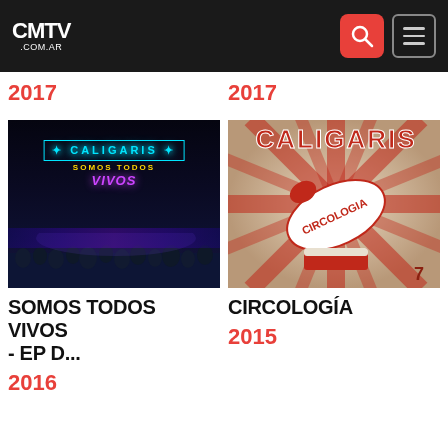CMTV .COM.AR
2017
2017
[Figure (photo): Album cover for Caligaris - Somos Todos Vivos, showing the band on stage with neon sign reading 'Caligaris Somos Todos Vivos' and an audience below]
[Figure (photo): Album cover for Caligaris - Circologia, circus-themed illustration with red and white sunburst design and a cannon labeled 'Circologia', numbered 7]
SOMOS TODOS VIVOS - EP D...
CIRCOLOGÍA
2016
2015